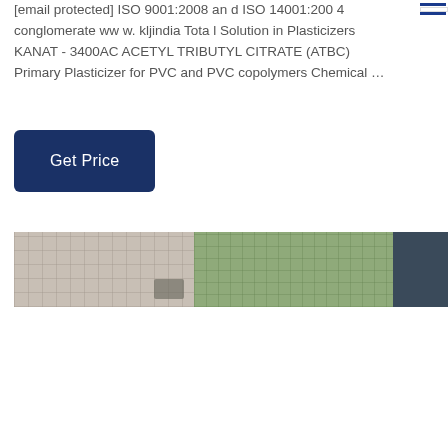[email protected] ISO 9001:2008 and ISO 14001:2004 conglomerate ww w. kljindia Tota l Solution in Plasticizers KANAT - 3400AC ACETYL TRIBUTYL CITRATE (ATBC) Primary Plasticizer for PVC and PVC copolymers Chemical ...
[Figure (other): Dark navy blue 'Get Price' button]
[Figure (photo): Two side-by-side photographs: left shows a grey gridded fabric/textile close-up with small objects at bottom right; right shows a building facade with green trees and a dark blue/grey panel on the far right]